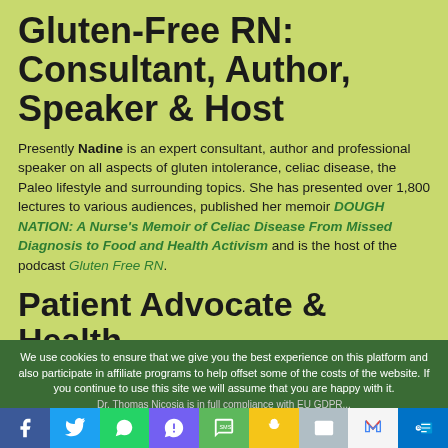Gluten-Free RN: Consultant, Author, Speaker & Host
Presently Nadine is an expert consultant, author and professional speaker on all aspects of gluten intolerance, celiac disease, the Paleo lifestyle and surrounding topics. She has presented over 1,800 lectures to various audiences, published her memoir DOUGH NATION: A Nurse's Memoir of Celiac Disease From Missed Diagnosis to Food and Health Activism and is the host of the podcast Gluten Free RN.
Patient Advocate & Health Educator
We use cookies to ensure that we give you the best experience on this platform and also participate in affiliate programs to help offset some of the costs of the website. If you continue to use this site we will assume that you are happy with it. Dr. Thomas Nicosia is in full compliance with EU GDPR...